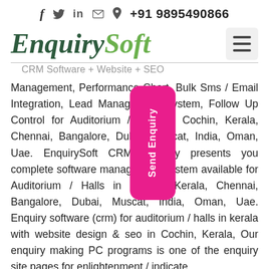f  🐦  in  ✉  📞 +91 9895490866
[Figure (logo): EnquirySoft logo with dark green italic serif 'Enquiry' and olive green italic 'Soft' text]
CRM Software + Website + SEO
Management, Performance Chart, Bulk Sms / Email Integration, Lead Management System, Follow Up Control for Auditorium / Halls in Cochin, Kerala, Chennai, Bangalore, Dubai, Muscat, India, Oman, Uae. EnquirySoft CRM, proudly presents you complete software management system available for Auditorium / Halls in Cochin, Kerala, Chennai, Bangalore, Dubai, Muscat, India, Oman, Uae. Enquiry software (crm) for auditorium / halls in kerala with website design & seo in Cochin, Kerala, Our enquiry making PC programs is one of the enquiry site pages for enlightenment / indicate